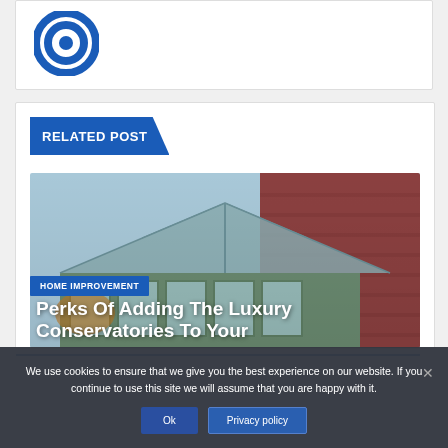[Figure (logo): Blue circular target/bullseye logo icon]
RELATED POST
[Figure (photo): Photo of a luxury conservatory with glass roof attached to a brick building]
HOME IMPROVEMENT
Perks Of Adding The Luxury Conservatories To Your
We use cookies to ensure that we give you the best experience on our website. If you continue to use this site we will assume that you are happy with it.
Ok  Privacy policy